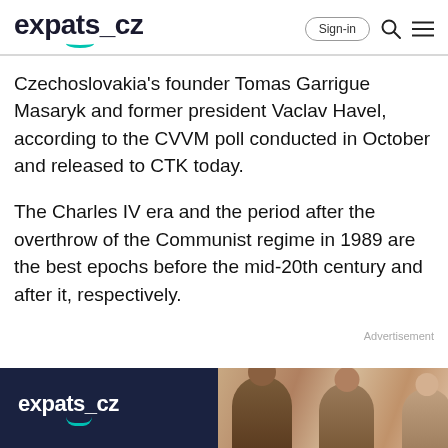expats.cz
Czechoslovakia’s founder Tomas Garrigue Masaryk and former president Vaclav Havel, according to the CVVM poll conducted in October and released to CTK today.
The Charles IV era and the period after the overthrow of the Communist regime in 1989 are the best epochs before the mid-20th century and after it, respectively.
Advertisement
[Figure (photo): Advertisement banner with expats.cz logo on dark navy background and photo of group of people on the right side]